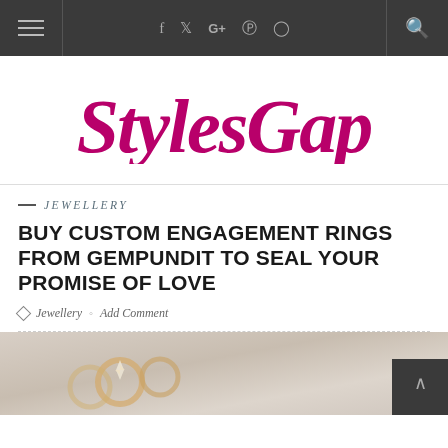Navigation bar with hamburger menu, social icons (f, Twitter, G+, Pinterest, Instagram) and search
[Figure (logo): StylesGap logo in magenta/pink cursive script font]
JEWELLERY
BUY CUSTOM ENGAGEMENT RINGS FROM GEMPUNDIT TO SEAL YOUR PROMISE OF LOVE
Jewellery  Add Comment
[Figure (photo): Close-up photo of engagement rings with diamonds, gold bands on white/grey background]